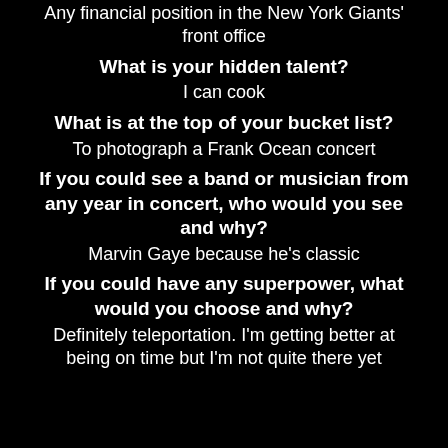Any financial position in the New York Giants' front office
What is your hidden talent?
I can cook
What is at the top of your bucket list?
To photograph a Frank Ocean concert
If you could see a band or musician from any year in concert, who would you see and why?
Marvin Gaye because he's classic
If you could have any superpower, what would you choose and why?
Definitely teleportation. I'm getting better at being on time but I'm not quite there yet